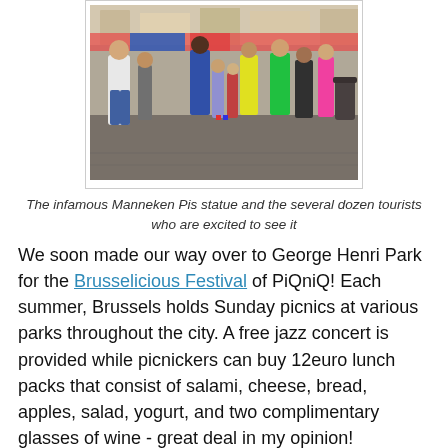[Figure (photo): Crowd of tourists at Manneken Pis statue in Brussels, street scene with many people including children and adults]
The infamous Manneken Pis statue and the several dozen tourists who are excited to see it
We soon made our way over to George Henri Park for the Brusselicious Festival of PiQniQ!  Each summer, Brussels holds Sunday picnics at various parks throughout the city.  A free jazz concert is provided while picnickers can buy 12euro lunch packs that consist of salami, cheese, bread, apples, salad, yogurt, and two complimentary glasses of wine - great deal in my opinion!
[Figure (photo): Picnic lunch packs on grass - green bags and a white box with food items at the Brusselicious Festival PiQniQ]